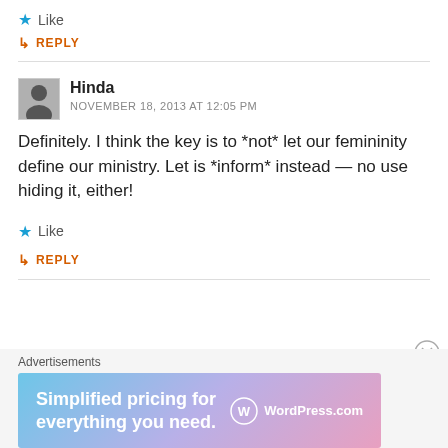★ Like
↳ REPLY
Hinda
NOVEMBER 18, 2013 AT 12:05 PM
Definitely. I think the key is to *not* let our femininity define our ministry. Let is *inform* instead — no use hiding it, either!
★ Like
↳ REPLY
Advertisements
[Figure (infographic): WordPress.com advertisement banner: 'Simplified pricing for everything you need.' with WordPress.com logo on gradient background.]